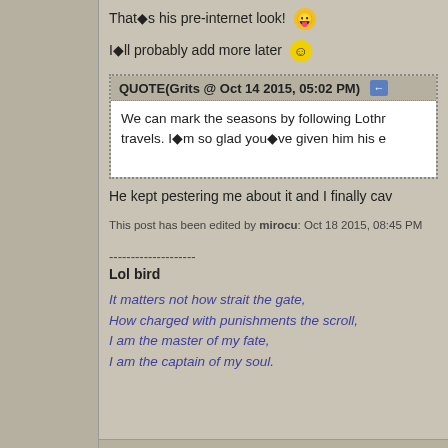That■s his pre-internet look! 😝
I■ll probably add more later 😊
QUOTE(Grits @ Oct 14 2015, 05:02 PM) [reply]
We can mark the seasons by following Lothr... travels. I■m so glad you■ve given him his ...
He kept pestering me about it and I finally cav...
This post has been edited by mirocu: Oct 18 2015, 08:45 PM
--------------------
Lol bird
It matters not how strait the gate,
How charged with punishments the scroll,
I am the master of my fate,
I am the captain of my soul.